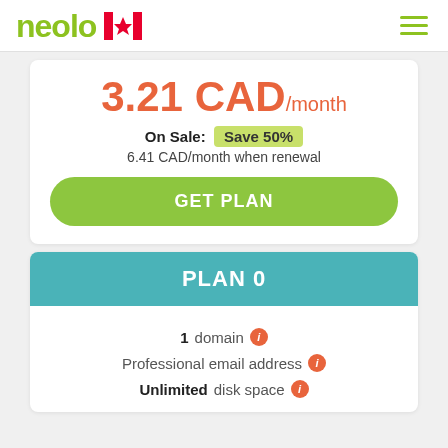neolo [Canada flag] [menu icon]
3.21 CAD/month
On Sale: Save 50%
6.41 CAD/month when renewal
GET PLAN
PLAN 0
1 domain
Professional email address
Unlimited disk space